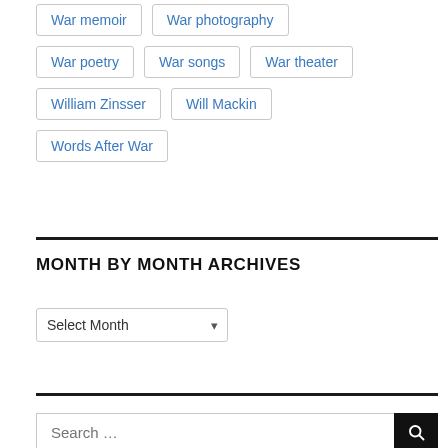War memoir
War photography
War poetry
War songs
War theater
William Zinsser
Will Mackin
Words After War
MONTH BY MONTH ARCHIVES
Select Month
Search ...